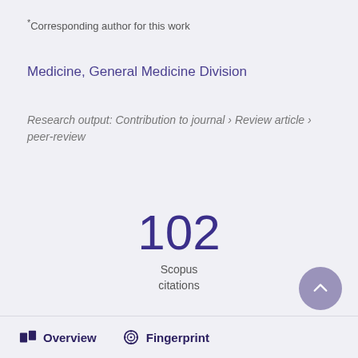*Corresponding author for this work
Medicine, General Medicine Division
Research output: Contribution to journal › Review article › peer-review
102
Scopus
citations
Overview   Fingerprint